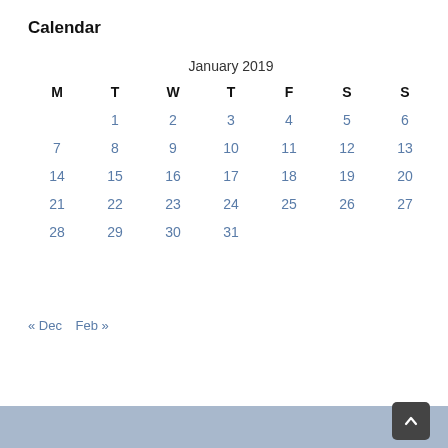Calendar
| M | T | W | T | F | S | S |
| --- | --- | --- | --- | --- | --- | --- |
|  | 1 | 2 | 3 | 4 | 5 | 6 |
| 7 | 8 | 9 | 10 | 11 | 12 | 13 |
| 14 | 15 | 16 | 17 | 18 | 19 | 20 |
| 21 | 22 | 23 | 24 | 25 | 26 | 27 |
| 28 | 29 | 30 | 31 |  |  |  |
« Dec   Feb »